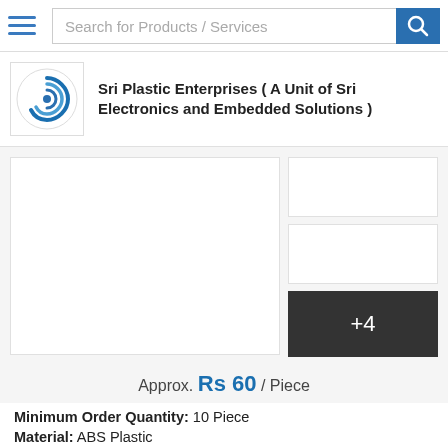Search for Products / Services
Sri Plastic Enterprises ( A Unit of Sri Electronics and Embedded Solutions )
[Figure (photo): Product image gallery with main large image on left and two smaller thumbnails plus a +4 more overlay on the right]
Approx. Rs 60 / Piece
Minimum Order Quantity: 10 Piece
Material: ABS Plastic
Color:....more
Get Best Price
Call Us